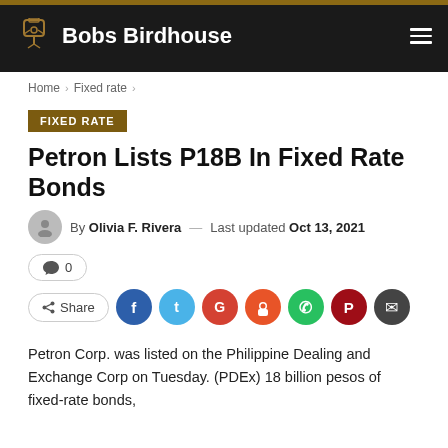Bobs Birdhouse
Home > Fixed rate >
FIXED RATE
Petron Lists P18B In Fixed Rate Bonds
By Olivia F. Rivera — Last updated Oct 13, 2021
0
Share
Petron Corp. was listed on the Philippine Dealing and Exchange Corp on Tuesday. (PDEx) 18 billion pesos of fixed-rate bonds,